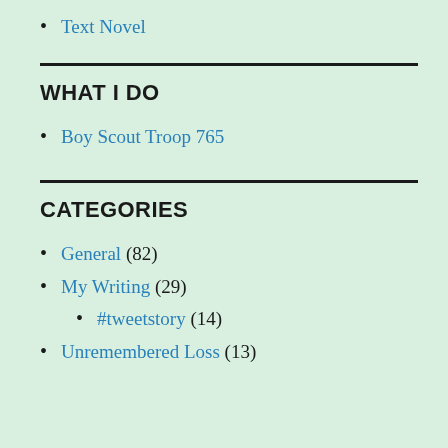Text Novel
WHAT I DO
Boy Scout Troop 765
CATEGORIES
General (82)
My Writing (29)
#tweetstory (14)
Unremembered Loss (13)